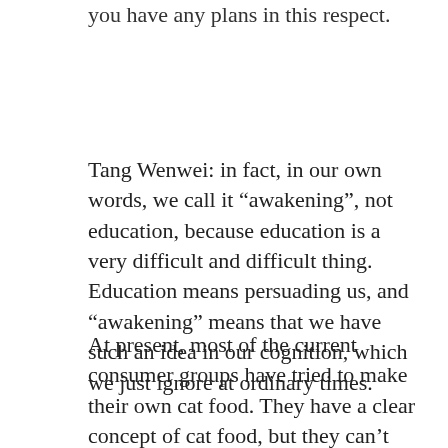you have any plans in this respect.
Tang Wenwei: in fact, in our own words, we call it “awakening”, not education, because education is a very difficult and difficult thing. Education means persuading us, and “awakening” means that we have such an idea in our cognition, which we just ignore at ordinary times.
At present, most of the current consumer groups have tried to make their own cat food. They have a clear concept of cat food, but they can’t stick to it or as a way of life if they are not troubled, unprofessional and lack of time.